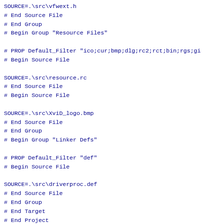SOURCE=.\src\vfwext.h
# End Source File
# End Group
# Begin Group "Resource Files"

# PROP Default_Filter "ico;cur;bmp;dlg;rc2;rct;bin;rgs;gi
# Begin Source File

SOURCE=.\src\resource.rc
# End Source File
# Begin Source File

SOURCE=.\src\XviD_logo.bmp
# End Source File
# End Group
# Begin Group "Linker Defs"

# PROP Default_Filter "def"
# Begin Source File

SOURCE=.\src\driverproc.def
# End Source File
# End Group
# End Target
# End Project
No admin address has been configured   ViewVC Help
Powered by ViewVC 1.0.4